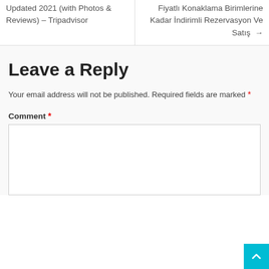Updated 2021 (with Photos & Reviews) – Tripadvisor
Fiyatlı Konaklama Birimlerine Kadar İndirimli Rezervasyon Ve Satış →
Leave a Reply
Your email address will not be published. Required fields are marked *
Comment *